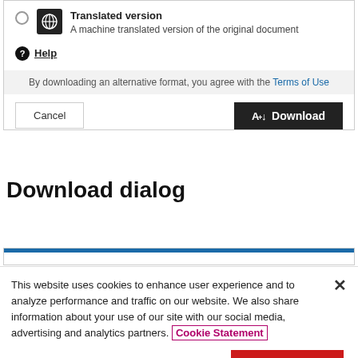[Figure (screenshot): Download dialog box showing a 'Translated version' radio option with globe icon, Help link, terms of use notice, Cancel button, and Download button]
Download dialog
[Figure (screenshot): Top strip of a second download dialog box (partially visible)]
This website uses cookies to enhance user experience and to analyze performance and traffic on our website. We also share information about your use of our site with our social media, advertising and analytics partners. Cookie Statement
Do Not Sell My Personal Information
Accept Cookies